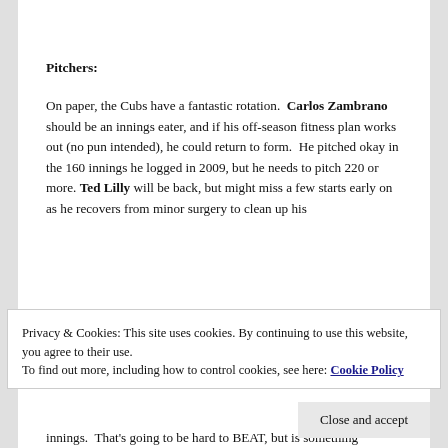Pitchers:
On paper, the Cubs have a fantastic rotation. Carlos Zambrano should be an innings eater, and if his off-season fitness plan works out (no pun intended), he could return to form. He pitched okay in the 160 innings he logged in 2009, but he needs to pitch 220 or more. Ted Lilly will be back, but might miss a few starts early on as he recovers from minor surgery to clean up his...
Privacy & Cookies: This site uses cookies. By continuing to use this website, you agree to their use.
To find out more, including how to control cookies, see here: Cookie Policy
innings. That's going to be hard to BEAT, but is something